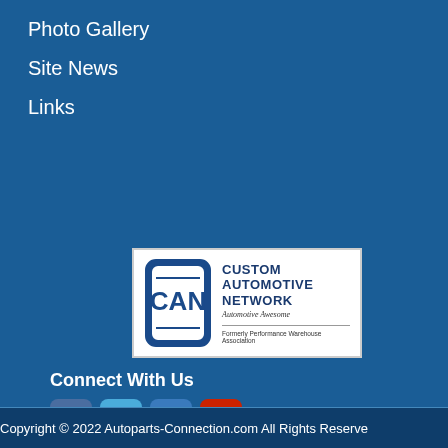Photo Gallery
Site News
Links
[Figure (logo): Custom Automotive Network (CAN) logo with shield badge showing 'CAN', text 'CUSTOM AUTOMOTIVE NETWORK', tagline 'Automotive Awesome', and 'Formerly Performance Warehouse Association']
Connect With Us
[Figure (infographic): Social media icons: Facebook, Twitter, LinkedIn, YouTube]
Copyright © 2022 Autoparts-Connection.com All Rights Reserved